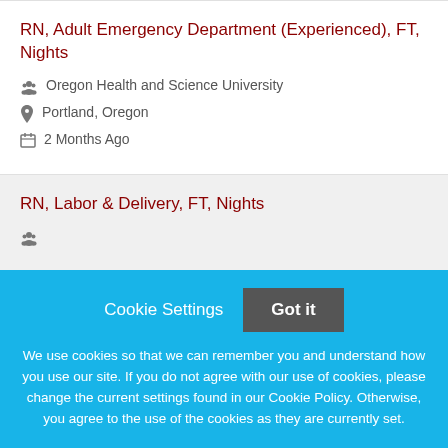RN, Adult Emergency Department (Experienced), FT, Nights
Oregon Health and Science University
Portland, Oregon
2 Months Ago
RN, Labor & Delivery, FT, Nights
Cookie Settings   Got it
We use cookies so that we can remember you and understand how you use our site. If you do not agree with our use of cookies, please change the current settings found in our Cookie Policy. Otherwise, you agree to the use of the cookies as they are currently set.